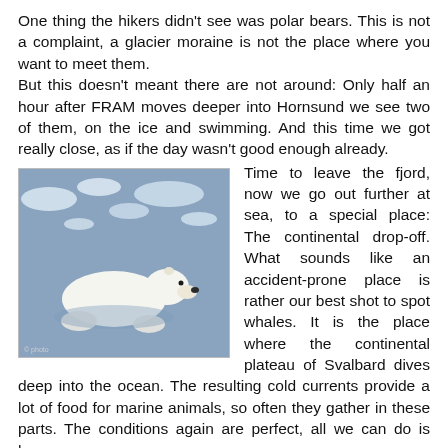One thing the hikers didn't see was polar bears. This is not a complaint, a glacier moraine is not the place where you want to meet them.
But this doesn't meant there are not around: Only half an hour after FRAM moves deeper into Hornsund we see two of them, on the ice and swimming. And this time we got really close, as if the day wasn't good enough already.
[Figure (photo): A polar bear swimming or resting on ice in icy blue Arctic waters, photographed close-up from a ship.]
Time to leave the fjord, now we go out further at sea, to a special place: The continental drop-off. What sounds like an accident-prone place is rather our best shot to spot whales. It is the place where the continental plateau of Svalbard dives deep into the ocean. The resulting cold currents provide a lot of food for marine animals, so often they gather in these parts. The conditions again are perfect, all we can do is hope.
But alas, this evening we are not lucky, the gentle giants